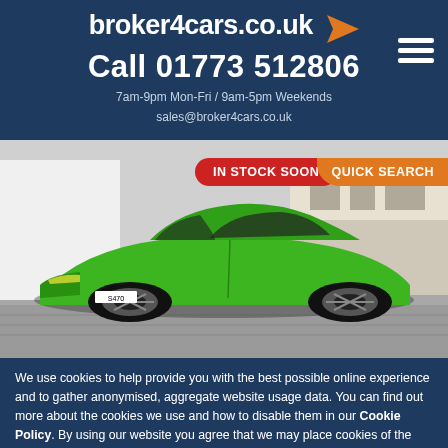broker4cars.co.uk
Call 01773 512806
7am-9pm Mon-Fri / 9am-5pm Weekends
sales@broker4cars.co.uk
[Figure (photo): Green Lamborghini Huracan sports car parked on a cobblestone street with white buildings in the background. Two overlaid badges: 'IN STOCK SOON' in red and 'QUICK SEARCH' in orange.]
We use cookies to help provide you with the best possible online experience and to gather anonymised, aggregate website usage data. You can find out more about the cookies we use and how to disable them in our Cookie Policy. By using our website you agree that we may place cookies of the type listed in our Cookie Policy on your device. Close X